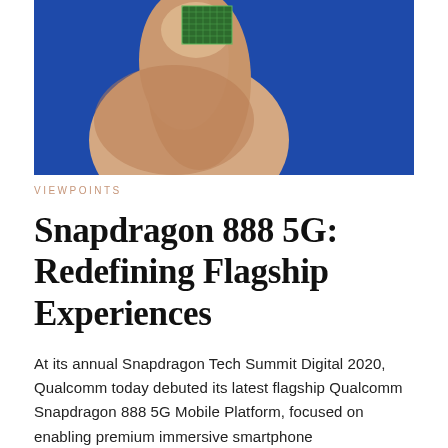[Figure (photo): Close-up photo of a finger holding a small Qualcomm Snapdragon chip against a blue background]
VIEWPOINTS
Snapdragon 888 5G: Redefining Flagship Experiences
At its annual Snapdragon Tech Summit Digital 2020, Qualcomm today debuted its latest flagship Qualcomm Snapdragon 888 5G Mobile Platform, focused on enabling premium immersive smartphone experiences for consumers.